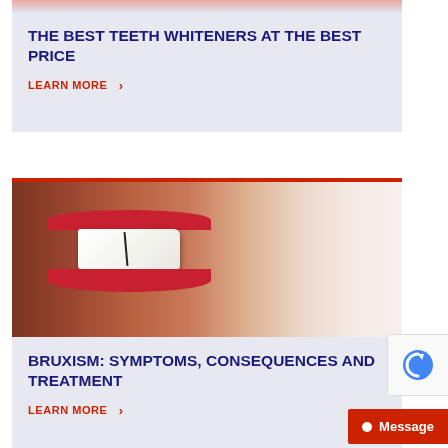[Figure (photo): Partial top of a card showing a photo crop of teeth whitening image (pink/skin tones visible at top)]
THE BEST TEETH WHITENERS AT THE BEST PRICE
LEARN MORE >
[Figure (photo): Close-up photo of a person with dark skin clenching/grinding teeth, lips with red lipstick, showing bruxism]
BRUXISM: SYMPTOMS, CONSEQUENCES AND TREATMENT
LEARN MORE >